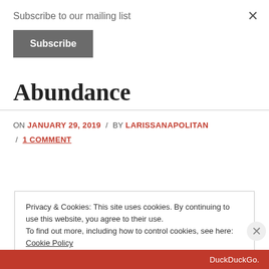Subscribe to our mailing list
Subscribe
Abundance
ON JANUARY 29, 2019 / BY LARISSANAPOLITAN / 1 COMMENT
Privacy & Cookies: This site uses cookies. By continuing to use this website, you agree to their use. To find out more, including how to control cookies, see here: Cookie Policy
Close and accept